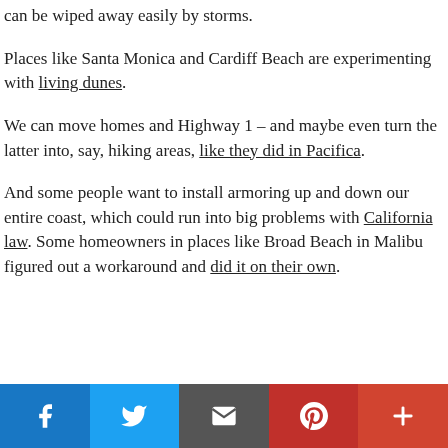can be wiped away easily by storms.
Places like Santa Monica and Cardiff Beach are experimenting with living dunes.
We can move homes and Highway 1 – and maybe even turn the latter into, say, hiking areas, like they did in Pacifica.
And some people want to install armoring up and down our entire coast, which could run into big problems with California law. Some homeowners in places like Broad Beach in Malibu figured out a workaround and did it on their own.
[Figure (infographic): Social sharing bar with Facebook, Twitter, Email, Pinterest, and More buttons]